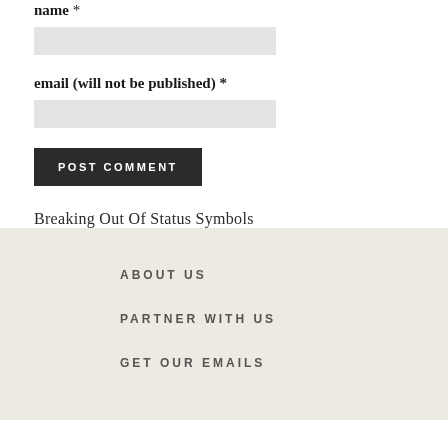name *
email (will not be published) *
POST COMMENT
Breaking Out Of Status Symbols
ABOUT US
PARTNER WITH US
GET OUR EMAILS